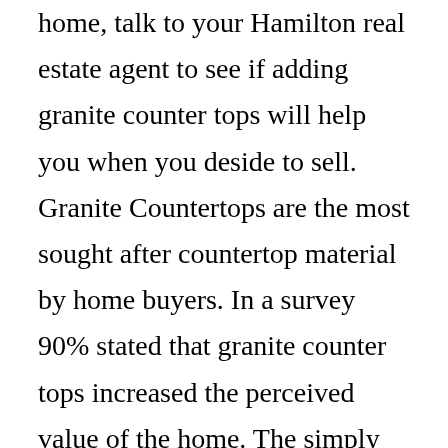home, talk to your Hamilton real estate agent to see if adding granite counter tops will help you when you deside to sell. Granite Countertops are the most sought after countertop material by home buyers. In a survey 90% stated that granite counter tops increased the perceived value of the home. The simply fact that you have granite countertops in your home can increase foot traffic and help to hold your property as more desirable than others in your area. Depending on your local Hamilton market conditions this